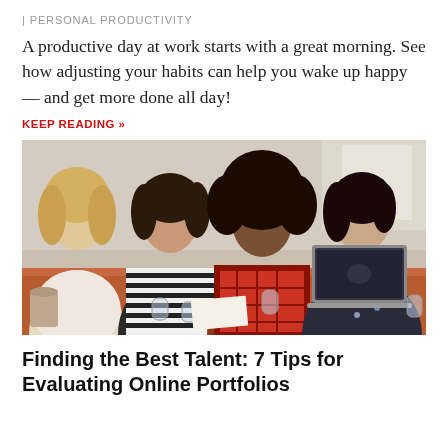| PERSONAL PRODUCTIVITY
A productive day at work starts with a great morning. See how adjusting your habits can help you wake up happy — and get more done all day!
KEEP READING »
[Figure (photo): Four women sitting around a table collaborating, one pointing at a laptop screen, glasses of water on the table]
Finding the Best Talent: 7 Tips for Evaluating Online Portfolios